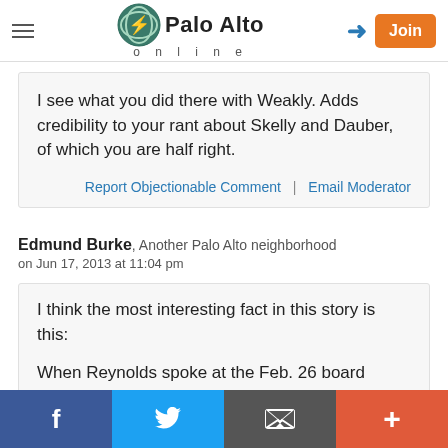Palo Alto online
I see what you did there with Weakly. Adds credibility to your rant about Skelly and Dauber, of which you are half right.
Report Objectionable Comment | Email Moderator
Edmund Burke, Another Palo Alto neighborhood
on Jun 17, 2013 at 11:04 pm
I think the most interesting fact in this story is this:

When Reynolds spoke at the Feb. 26 board meeting, she incorrectly said that early resolution
f | Twitter | Email | +